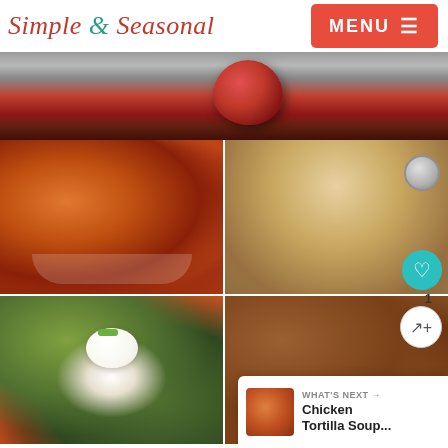[Figure (screenshot): Simple & Seasonal food blog website screenshot showing logo, menu button, top food image (apple), and a 2x2 grid of food photos: BBQ chicken wings, taquitos/flautas, loaded nachos, and candied pecans. Overlaid UI elements include a heart/favorite button, a share button with count '1', and a 'What's Next' banner for Chicken Tortilla Soup.]